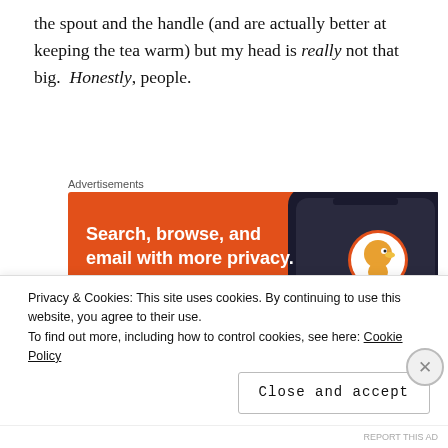the spout and the handle (and are actually better at keeping the tea warm) but my head is really not that big. Honestly, people.
[Figure (screenshot): DuckDuckGo advertisement banner with orange background. Text reads: Search, browse, and email with more privacy. Shows a phone with DuckDuckGo logo.]
Advertisements
Then I sewed it up.
[Figure (photo): Partial photo of a green textured object, likely knitted or sewn item.]
Privacy & Cookies: This site uses cookies. By continuing to use this website, you agree to their use.
To find out more, including how to control cookies, see here: Cookie Policy
Close and accept